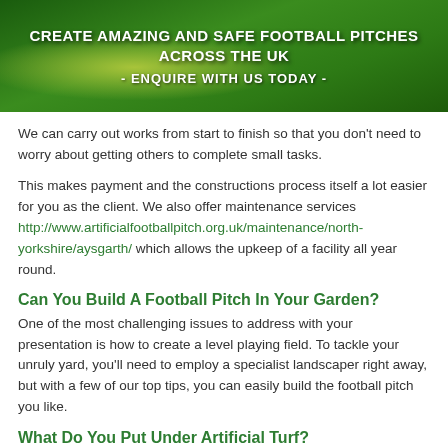[Figure (photo): Green grass football pitch banner with bold white text: 'CREATE AMAZING AND SAFE FOOTBALL PITCHES ACROSS THE UK' and '- ENQUIRE WITH US TODAY -']
We can carry out works from start to finish so that you don't need to worry about getting others to complete small tasks.
This makes payment and the constructions process itself a lot easier for you as the client. We also offer maintenance services http://www.artificialfootballpitch.org.uk/maintenance/north-yorkshire/aysgarth/ which allows the upkeep of a facility all year round.
Can You Build A Football Pitch In Your Garden?
One of the most challenging issues to address with your presentation is how to create a level playing field. To tackle your unruly yard, you'll need to employ a specialist landscaper right away, but with a few of our top tips, you can easily build the football pitch you like.
What Do You Put Under Artificial Turf?
Installing a sub-base for artificial grass on concrete surfaces: Since